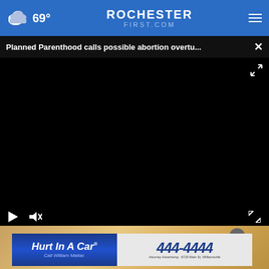69° ROCHESTERFIRST.COM
Planned Parenthood calls possible abortion overtu... ×
[Figure (screenshot): Black video player area with play button, mute button, and fullscreen icon controls]
[Figure (photo): Advertisement banner: Hurt In A Car Call William Mattar 444-4444, Attorney Advertising 6720 Main St, Williamsville, with close button]